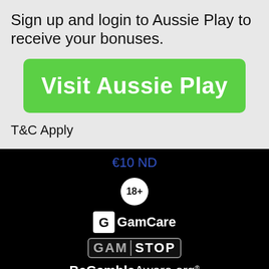Sign up and login to Aussie Play to receive your bonuses.
[Figure (other): Green button with white bold text 'Visit Aussie Play']
T&C Apply
€10 ND
[Figure (other): White circle badge with bold text '18+']
[Figure (logo): GamCare logo with white G icon and white GamCare text]
[Figure (logo): GamStop logo with grey and white text on dark background]
[Figure (logo): BeGambleAware.org logo in white text with registered trademark symbol]